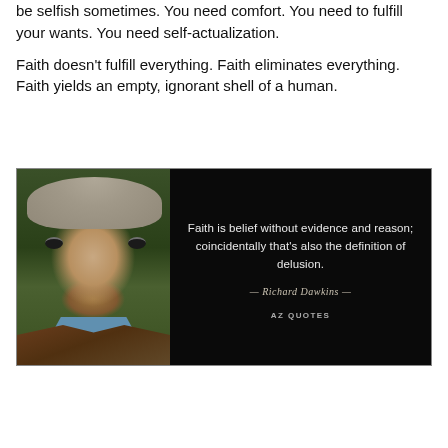be selfish sometimes. You need comfort. You need to fulfill your wants. You need self-actualization.
Faith doesn't fulfill everything. Faith eliminates everything. Faith yields an empty, ignorant shell of a human.
[Figure (photo): Quote image with photo of Richard Dawkins on left side and text on black background on right: 'Faith is belief without evidence and reason; coincidentally that's also the definition of delusion.' — Richard Dawkins — AZ QUOTES]